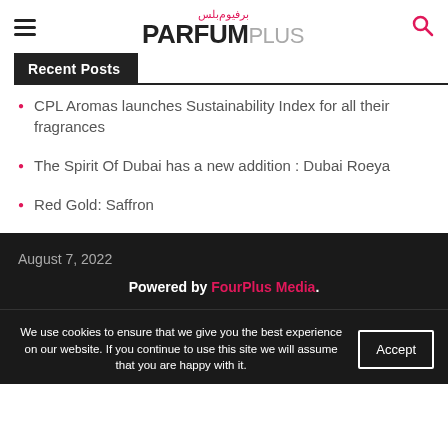PARFUMPlus
Recent Posts
CPL Aromas launches Sustainability Index for all their fragrances
The Spirit Of Dubai has a new addition : Dubai Roeya
Red Gold: Saffron
August 7, 2022
Powered by FourPlus Media.
We use cookies to ensure that we give you the best experience on our website. If you continue to use this site we will assume that you are happy with it.